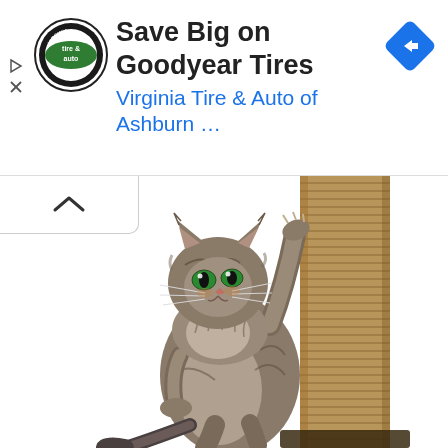[Figure (screenshot): Advertisement banner showing Virginia Tire & Auto of Ashburn ad with text 'Save Big on Goodyear Tires' and 'Virginia Tire & Auto of Ashburn ...' with logo circle and blue navigation arrow diamond icon]
Save Big on Goodyear Tires
Virginia Tire & Auto of Ashburn ...
[Figure (photo): A fluffy tabby kitten with long fur and green eyes, standing upright and reaching up to scratch or climb a tall sisal/rope scratching post column. The background is white. The cat's tail is visible at the bottom.]